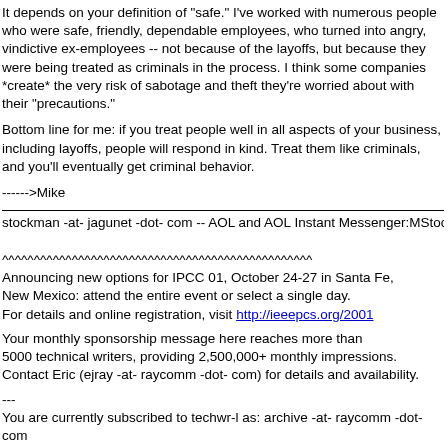It depends on your definition of "safe." I've worked with numerous people who were safe, friendly, dependable employees, who turned into angry, vindictive ex-employees -- not because of the layoffs, but because they were being treated as criminals in the process. I think some companies *create* the very risk of sabotage and theft they're worried about with their "precautions."
Bottom line for me: if you treat people well in all aspects of your business, including layoffs, people will respond in kind. Treat them like criminals, and you'll eventually get criminal behavior.
------>Mike
stockman -at- jagunet -dot- com -- AOL and AOL Instant Messenger:MStockma
^^^^^^^^^^^^^^^^^^^^^^^^^^^^^^^^^^^^^^^^^^^^^^^^^
Announcing new options for IPCC 01, October 24-27 in Santa Fe, New Mexico: attend the entire event or select a single day. For details and online registration, visit http://ieeepcs.org/2001
Your monthly sponsorship message here reaches more than 5000 technical writers, providing 2,500,000+ monthly impressions. Contact Eric (ejray -at- raycomm -dot- com) for details and availability.
---
You are currently subscribed to techwr-l as: archive -at- raycomm -dot- com